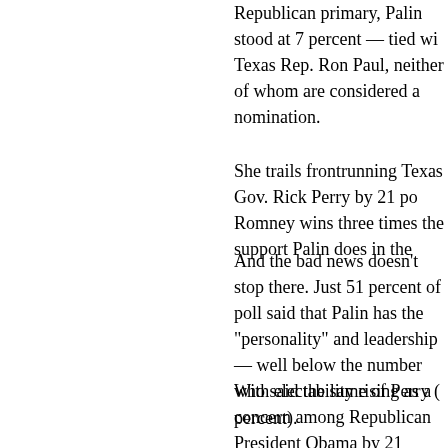Republican primary, Palin stood at 7 percent — tied with Texas Rep. Ron Paul, neither of whom are considered a nomination.
She trails frontrunning Texas Gov. Rick Perry by 21 points. Romney wins three times the support Palin does in the
And the bad news doesn't stop there. Just 51 percent of poll said that Palin has the "personality" and leadership — well below the number who said the same of Perry ( percent).
With electability rising as a concern among Republicans, President Obama by 21 points in a head-to-head match GOP candidate — is yet more bad news for Palin.
Palin's struggles appear to be closely correlated to the race in mid-August fundamentally re-ordered the pe aggressively seeking tea party support.